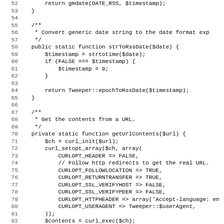PHP source code listing, lines 52–83, showing strToRssDate and getUrlContents static functions